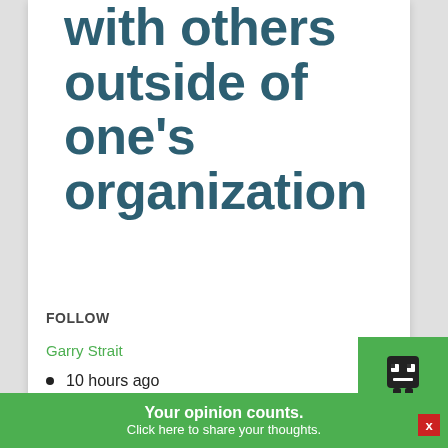with others outside of one's organization
FOLLOW
Garry Strait
10 hours ago
I have some friends who play MCEE, but are outside of my Organization. Could you please add the ability to play with other players outside of the organization?
[Figure (illustration): Green square avatar icon at bottom right of card]
Your opinion counts. Click here to share your thoughts.